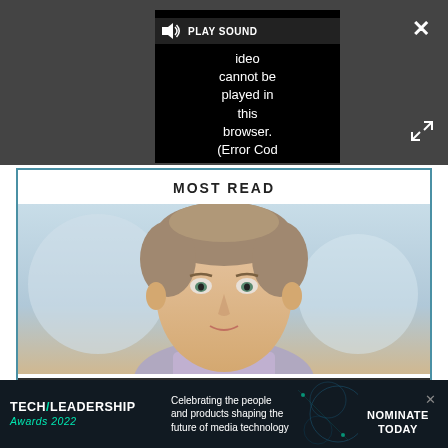[Figure (screenshot): Video player overlay showing error message: video cannot be played in this browser. (Error Cod... with PLAY SOUND button at top, close X button top right, expand/fullscreen button right side]
MOST READ
[Figure (photo): Headshot of a middle-aged man with short brown/grey hair, light eyes, slight smile, wearing a light purple/blue shirt, against a blurred light background]
1 Rohde & Schwarz Appoints Dan Wroth as Product Manager
[Figure (infographic): Tech Leadership Awards 2022 advertisement banner: Celebrating the people and products shaping the future of media technology. NOMINATE TODAY.]